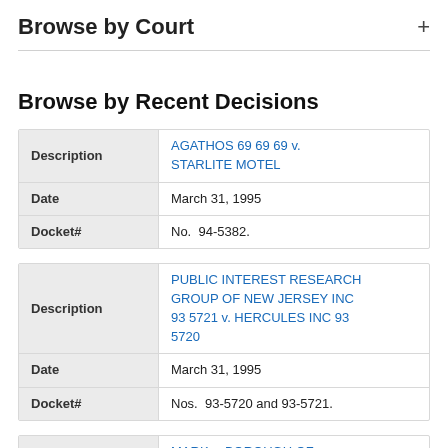Browse by Court
Browse by Recent Decisions
| Field | Value |
| --- | --- |
| Description | AGATHOS 69 69 69 v. STARLITE MOTEL |
| Date | March 31, 1995 |
| Docket# | No.  94-5382. |
| Field | Value |
| --- | --- |
| Description | PUBLIC INTEREST RESEARCH GROUP OF NEW JERSEY INC 93 5721 v. HERCULES INC 93 5720 |
| Date | March 31, 1995 |
| Docket# | Nos.  93-5720 and 93-5721. |
| Field | Value |
| --- | --- |
| Description | MARK v. BOROUGH OF HATBORO |